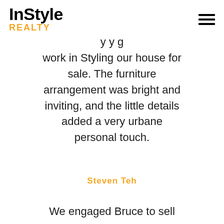InStyle REALTY
...y y g work in Styling our house for sale. The furniture arrangement was bright and inviting, and the little details added a very urbane personal touch.
Steven Teh
We engaged Bruce to sell